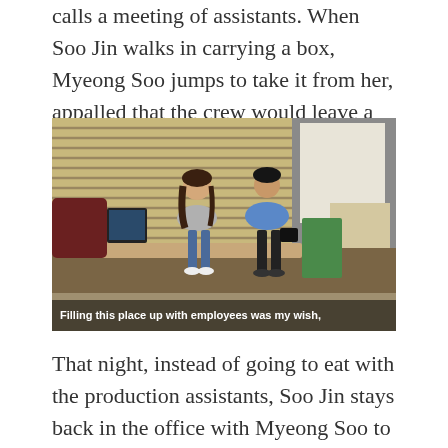calls a meeting of assistants. When Soo Jin walks in carrying a box, Myeong Soo jumps to take it from her, appalled that the crew would leave a woman to carry things.
[Figure (photo): Two people (a woman and a man) sitting on office desks in a production office environment. Subtitle reads: Filling this place up with employees was my wish,]
That night, instead of going to eat with the production assistants, Soo Jin stays back in the office with Myeong Soo to savour the feeling of